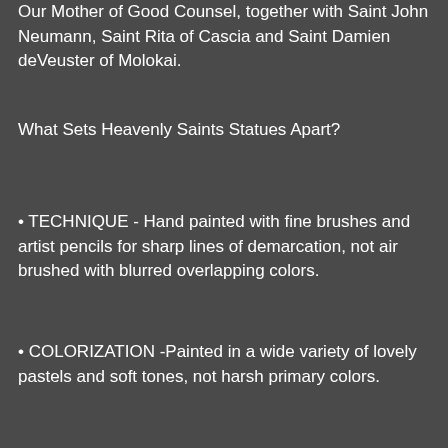Our Mother of Good Counsel, together with Saint John Neumann, Saint Rita of Cascia and Saint Damien deVeuster of Molokai.
What Sets Heavenly Saints Statues Apart?
• TECHNIQUE - Hand painted with fine brushes and artist pencils for sharp lines of demarcation, not air brushed with blurred overlapping colors.
• COLORIZATION -Painted in a wide variety of lovely pastels and soft tones, not harsh primary colors.